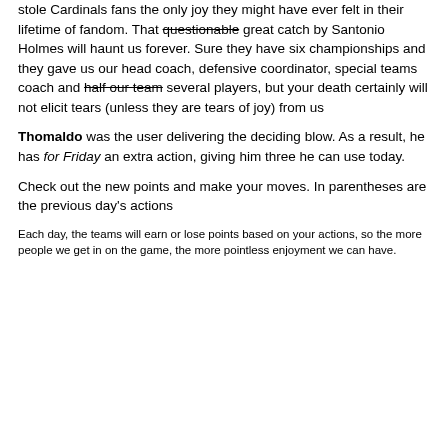stole Cardinals fans the only joy they might have ever felt in their lifetime of fandom. That questionable great catch by Santonio Holmes will haunt us forever. Sure they have six championships and they gave us our head coach, defensive coordinator, special teams coach and half our team several players, but your death certainly will not elicit tears (unless they are tears of joy) from us
Thomaldo was the user delivering the deciding blow. As a result, he has for Friday an extra action, giving him three he can use today.
Check out the new points and make your moves. In parentheses are the previous day's actions
Each day, the teams will earn or lose points based on your actions, so the more people we get in on the game, the more pointless enjoyment we can have.